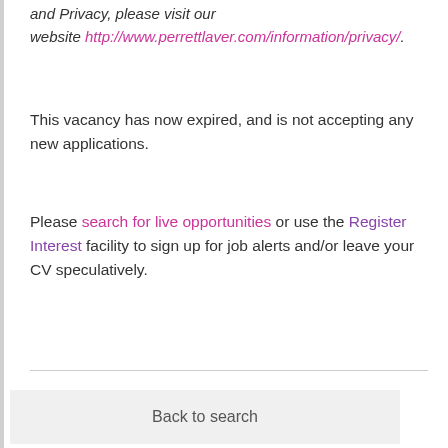and Privacy, please visit our website http://www.perrettlaver.com/information/privacy/.
This vacancy has now expired, and is not accepting any new applications.
Please search for live opportunities or use the Register Interest facility to sign up for job alerts and/or leave your CV speculatively.
Back to search